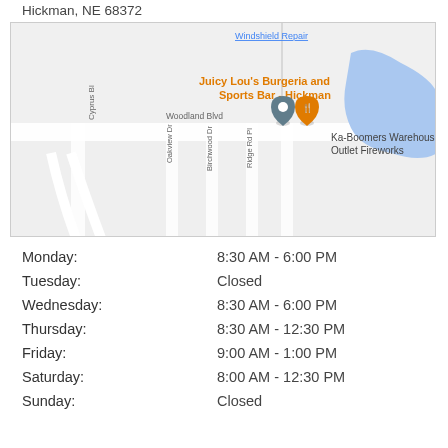Hickman, NE 68372
[Figure (map): Google Maps view showing Juicy Lou's Burgeria and Sports Bar - Hickman location with nearby streets including Woodland Blvd, Cyprus Bl, Oakview Dr, Birchwood Dr, Ridge Rd Pl, and Ka-Boomers Warehouse Outlet Fireworks marker. A blue water body visible on the right side.]
| Day | Hours |
| --- | --- |
| Monday: | 8:30 AM - 6:00 PM |
| Tuesday: | Closed |
| Wednesday: | 8:30 AM - 6:00 PM |
| Thursday: | 8:30 AM - 12:30 PM |
| Friday: | 9:00 AM - 1:00 PM |
| Saturday: | 8:00 AM - 12:30 PM |
| Sunday: | Closed |